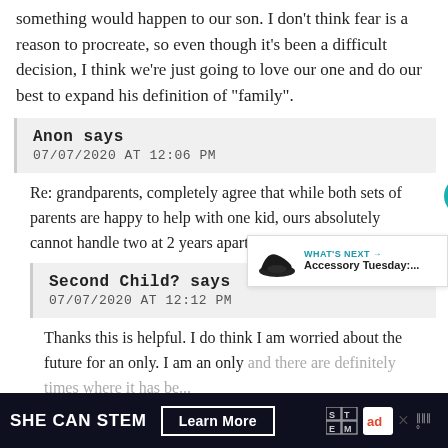something would happen to our son. I don't think fear is a reason to procreate, so even though it's been a difficult decision, I think we're just going to love our one and do our best to expand his definition of “family”.
Anon says
07/07/2020 AT 12:06 PM
Re: grandparents, completely agree that while both sets of parents are happy to help with one kid, ours absolutely cannot handle two at 2 years apart.
Second Child? says
07/07/2020 AT 12:12 PM
Thanks this is helpful. I do think I am worried about the future for an only. I am an only and there are definitely times where it has been...
[Figure (infographic): WHAT'S NEXT arrow label with shoe image and text 'Accessory Tuesday:...']
SHE CAN STEM  Learn More